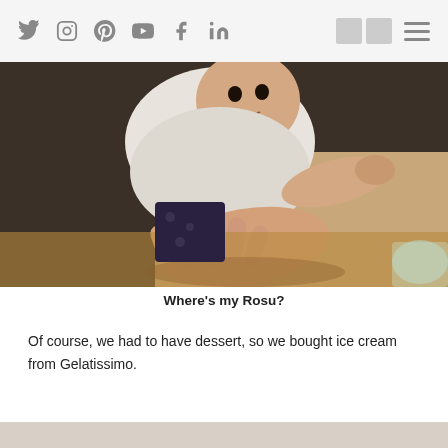Social media navigation bar with icons: Twitter, Instagram, Pinterest, YouTube, Facebook, LinkedIn, menu
[Figure (photo): A baby in a white outfit lying/sitting on a wooden table surface, reaching out toward an adult's hand. A glass is visible at the bottom right corner.]
Where's my Rosu?
Of course, we had to have dessert, so we bought ice cream from Gelatissimo.